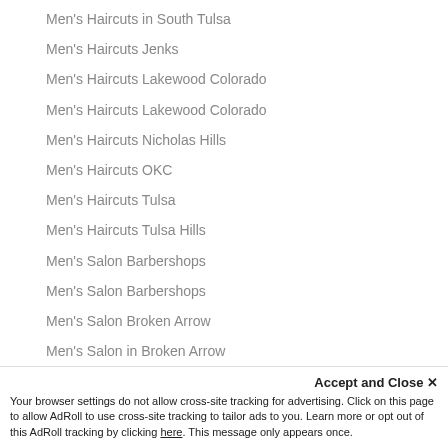Men's Haircuts in South Tulsa
Men's Haircuts Jenks
Men's Haircuts Lakewood Colorado
Men's Haircuts Lakewood Colorado
Men's Haircuts Nicholas Hills
Men's Haircuts OKC
Men's Haircuts Tulsa
Men's Haircuts Tulsa Hills
Men's Salon Barbershops
Men's Salon Barbershops
Men's Salon Broken Arrow
Men's Salon in Broken Arrow
Men's Salon in Jenks
Accept and Close ✕
Your browser settings do not allow cross-site tracking for advertising. Click on this page to allow AdRoll to use cross-site tracking to tailor ads to you. Learn more or opt out of this AdRoll tracking by clicking here. This message only appears once.